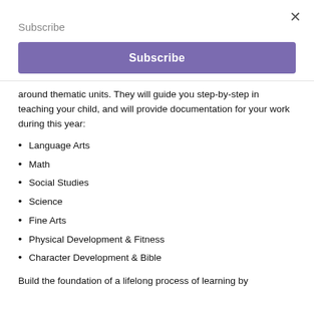Subscribe
Subscribe
around thematic units. They will guide you step-by-step in teaching your child, and will provide documentation for your work during this year:
Language Arts
Math
Social Studies
Science
Fine Arts
Physical Development & Fitness
Character Development & Bible
Build the foundation of a lifelong process of learning by